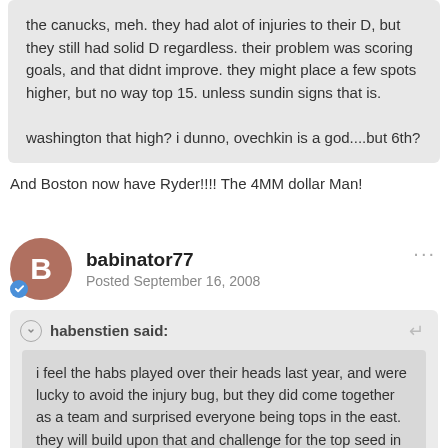the canucks, meh. they had alot of injuries to their D, but they still had solid D regardless. their problem was scoring goals, and that didnt improve. they might place a few spots higher, but no way top 15. unless sundin signs that is.

washington that high? i dunno, ovechkin is a god....but 6th?
And Boston now have Ryder!!!! The 4MM dollar Man!
babinator77
Posted September 16, 2008
habenstien said:
i feel the habs played over their heads last year, and were lucky to avoid the injury bug, but they did come together as a team and surprised everyone being tops in the east. they will build upon that and challenge for the top seed in the east again, but i think its gonna be tight. we wont be able to beat on boston all season